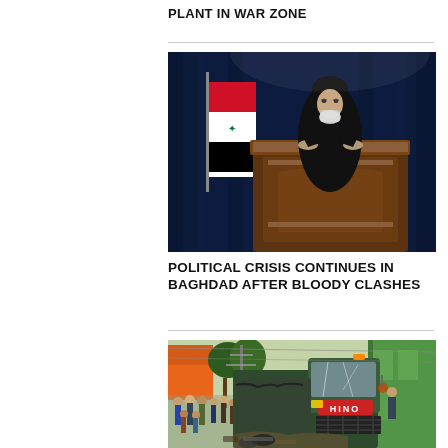PLANT IN WAR ZONE
[Figure (photo): A cleric in black robes speaking at a wooden podium with an Iraqi flag in the background against dark blue curtains]
POLITICAL CRISIS CONTINUES IN BAGHDAD AFTER BLOODY CLASHES
[Figure (photo): A damaged HINO truck crashed into a green building wall, with crowds of people on the left side]